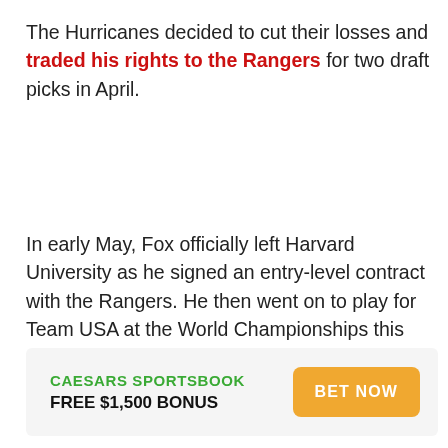The Hurricanes decided to cut their losses and traded his rights to the Rangers for two draft picks in April.
In early May, Fox officially left Harvard University as he signed an entry-level contract with the Rangers. He then went on to play for Team USA at the World Championships this past May in Slovakia, and now is in Stamford, CT, wearing the sweater of the team he grew up watching as a kid.
[Figure (infographic): Caesars Sportsbook advertisement with green text 'CAESARS SPORTSBOOK', bold text 'FREE $1,500 BONUS', and an orange 'BET NOW' button]